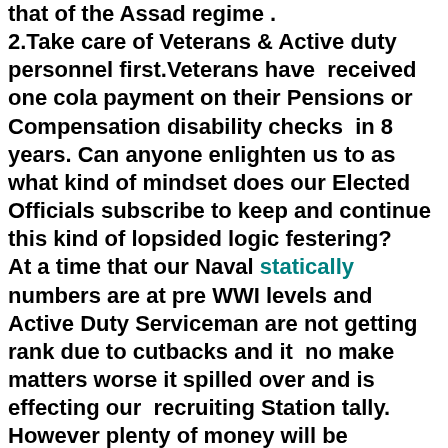that of the Assad regime . 2.Take care of Veterans & Active duty personnel first.Veterans have received one cola payment on their Pensions or Compensation disability checks in 8 years. Can anyone enlighten us to as what kind of mindset does our Elected Officials subscribe to keep and continue this kind of lopsided logic festering? At a time that our Naval statically numbers are at pre WWI levels and Active Duty Serviceman are not getting rank due to cutbacks and it no make matters worse it spilled over and is effecting our recruiting Station tally. However plenty of money will be earmarked for these immigrants.The immigrants will receive and $1,800 resettlement tax free bonus plus SSI, Food Stamps,Medicaid,free child care and a subsided Apartment.We are all paying taxes including our Veterans.